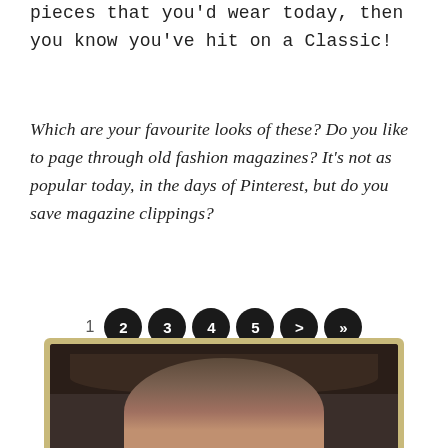pieces that you'd wear today, then you know you've hit on a Classic!
Which are your favourite looks of these? Do you like to page through old fashion magazines? It's not as popular today, in the days of Pinterest, but do you save magazine clippings?
[Figure (other): Pagination navigation bar with page numbers 1, 2 (selected), 3, 4, 5, a next arrow, and a double-next arrow, rendered as dark circular buttons]
[Figure (photo): Partial photo of a person's head with dark hair, shown from the top, against a warm tan/gold border frame, at the bottom of the page]